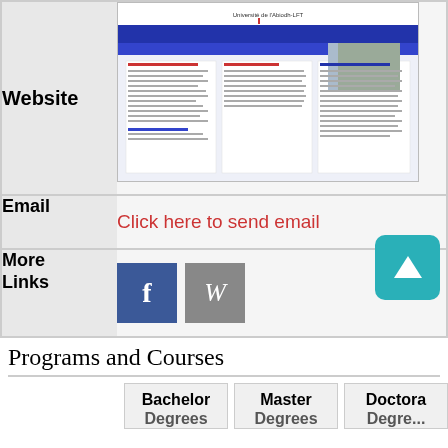| Label | Content |
| --- | --- |
| Website | [screenshot of university website] |
| Email | Click here to send email |
| More Links | [Facebook icon] [Wikipedia icon] |
Programs and Courses
| Bachelor Degrees | Master Degrees | Doctoral Degrees |
| --- | --- | --- |